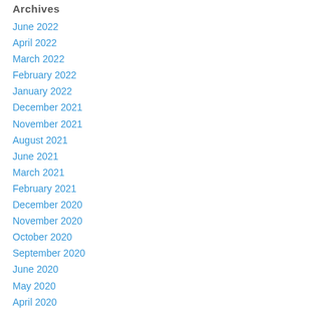Archives
June 2022
April 2022
March 2022
February 2022
January 2022
December 2021
November 2021
August 2021
June 2021
March 2021
February 2021
December 2020
November 2020
October 2020
September 2020
June 2020
May 2020
April 2020
August 2018